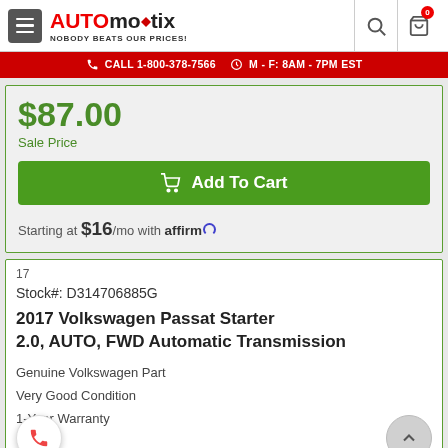AUTOMOTIX — NOBODY BEATS OUR PRICES!
CALL 1-800-378-7566   M - F: 8AM - 7PM EST
$87.00
Sale Price
Add To Cart
Starting at $16/mo with affirm
17
Stock#: D314706885G
2017 Volkswagen Passat Starter 2.0, AUTO, FWD Automatic Transmission
Genuine Volkswagen Part
Very Good Condition
1-Year Warranty